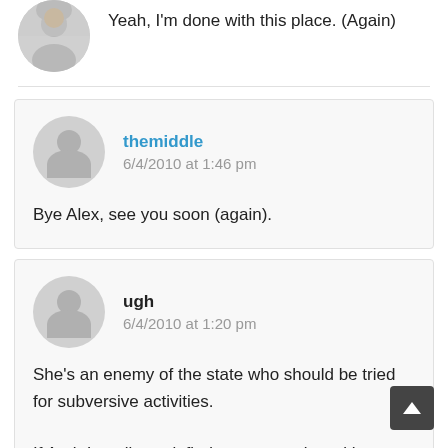[Figure (photo): Partial circular avatar photo of a person at the top of the page]
Yeah, I'm done with this place. (Again)
[Figure (illustration): Gray circular avatar placeholder icon for user 'themiddle']
themiddle
6/4/2010 at 1:46 pm
Bye Alex, see you soon (again).
[Figure (illustration): Gray circular avatar placeholder icon for user 'ugh']
ugh
6/4/2010 at 1:20 pm
She's an enemy of the state who should be tried for subversive activities.

If Arab Israelis can't find representation with an allegiance to Israel, than they can't find representation